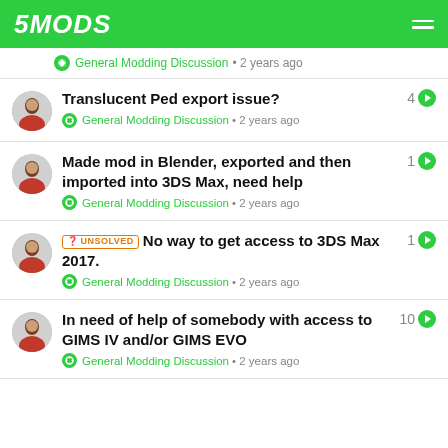5MODS
General Modding Discussion · 2 years ago
Translucent Ped export issue? — 4 replies — General Modding Discussion · 2 years ago
Made mod in Blender, exported and then imported into 3DS Max, need help — 1 reply — General Modding Discussion · 2 years ago
UNSOLVED No way to get access to 3DS Max 2017. — 1 reply — General Modding Discussion · 2 years ago
In need of help of somebody with access to GIMS IV and/or GIMS EVO — 10 replies — General Modding Discussion · 2 years ago